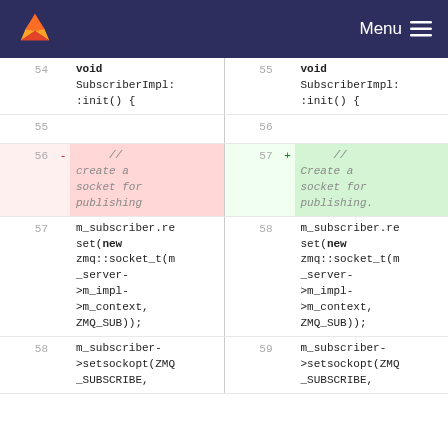Menu
Diff view of code showing changes to SubscriberImpl::init() function, lines 54-59
| Old Line | Old Code | New Line | New Code |
| --- | --- | --- | --- |
| 54 | void SubscriberImpl::init() { | 55 | void SubscriberImpl::init() { |
| 55 |  | 56 |  |
| 56 | -  // create a socket for publishing | 57 | +  // Create a socket for publishing. |
| 57 | m_subscriber.reset(new zmq::socket_t(m_server->m_impl->m_context, ZMQ_SUB)); | 58 | m_subscriber.reset(new zmq::socket_t(m_server->m_impl->m_context, ZMQ_SUB)); |
| 58 | m_subscriber->setsockopt(ZMQ_SUBSCRIBE, | 59 | m_subscriber->setsockopt(ZMQ_SUBSCRIBE, |